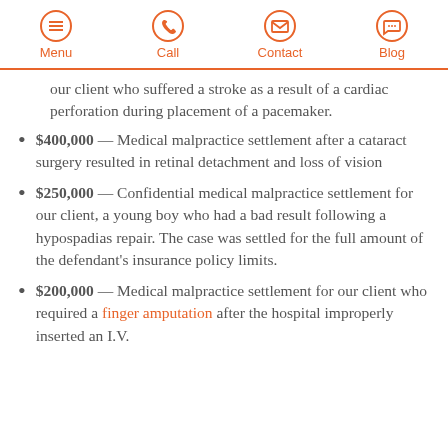Menu | Call | Contact | Blog
our client who suffered a stroke as a result of a cardiac perforation during placement of a pacemaker.
$400,000 — Medical malpractice settlement after a cataract surgery resulted in retinal detachment and loss of vision
$250,000 — Confidential medical malpractice settlement for our client, a young boy who had a bad result following a hypospadias repair. The case was settled for the full amount of the defendant's insurance policy limits.
$200,000 — Medical malpractice settlement for our client who required a finger amputation after the hospital improperly inserted an I.V.